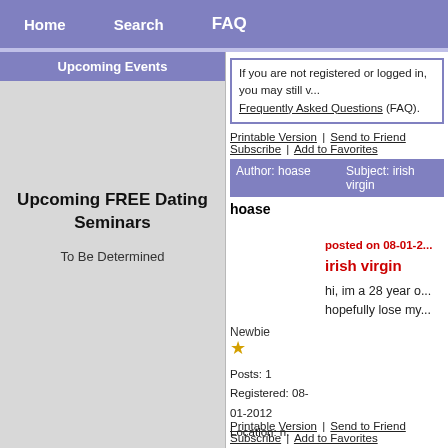Home | Search | FAQ
Upcoming Events
If you are not registered or logged in, you may still v... Frequently Asked Questions (FAQ).
Printable Version | Send to Friend
Subscribe | Add to Favorites
| Author: hoase | Subject: irish virgin |
| --- | --- |
hoase
posted on 08-01-2...
irish virgin
hi, im a 28 year o... hopefully lose my...
Newbie
★
Posts: 1
Registered: 08-01-2012
Location: n. ireland
Upcoming FREE Dating Seminars
To Be Determined
Printable Version | Send to Friend
Subscribe | Add to Favorites